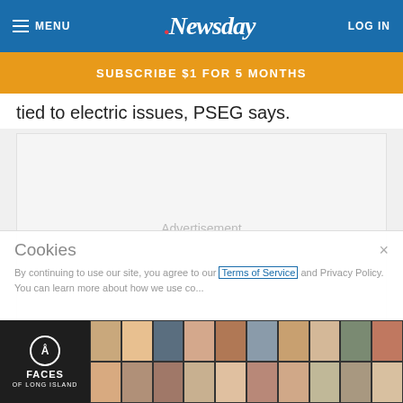MENU | Newsday | LOG IN
SUBSCRIBE $1 FOR 5 MONTHS
tied to electric issues, PSEG says.
[Figure (other): Advertisement placeholder box]
Cookies
By continuing to use our site, you agree to our Terms of Service and Privacy Policy. You can learn more about how we use co...
[Figure (other): Faces of Long Island promotional strip with headshots grid]